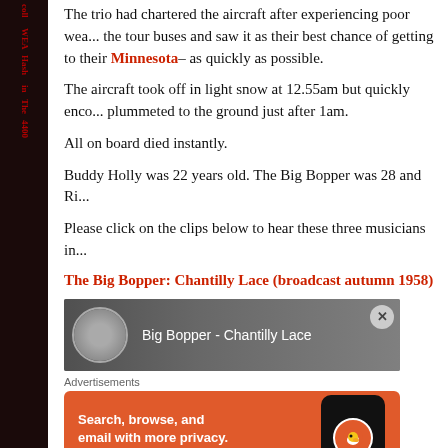The trio had chartered the aircraft after experiencing poor weather on the tour buses and saw it as their best chance of getting to their Minnesota– as quickly as possible.
The aircraft took off in light snow at 12.55am but quickly encountered problems and plummeted to the ground just after 1am.
All on board died instantly.
Buddy Holly was 22 years old. The Big Bopper was 28 and Ri...
Please click on the clips below to hear these three musicians in...
The Big Bopper: Chantilly Lace (broadcast autumn 1958)
[Figure (screenshot): Video thumbnail showing Big Bopper - Chantilly Lace with a circular portrait image on dark background and close button]
Advertisements
[Figure (screenshot): DuckDuckGo advertisement: Search, browse, and email with more privacy. All in One Free App, showing a phone with DuckDuckGo logo on orange background]